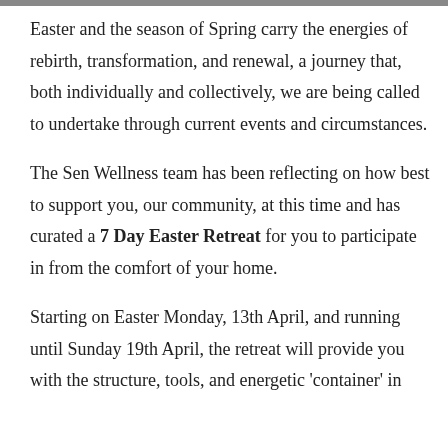[Figure (photo): A thin horizontal image strip at the top of the page (partially visible, cropped).]
Easter and the season of Spring carry the energies of rebirth, transformation, and renewal, a journey that, both individually and collectively, we are being called to undertake through current events and circumstances.
The Sen Wellness team has been reflecting on how best to support you, our community, at this time and has curated a 7 Day Easter Retreat for you to participate in from the comfort of your home.
Starting on Easter Monday, 13th April, and running until Sunday 19th April, the retreat will provide you with the structure, tools, and energetic 'container' in